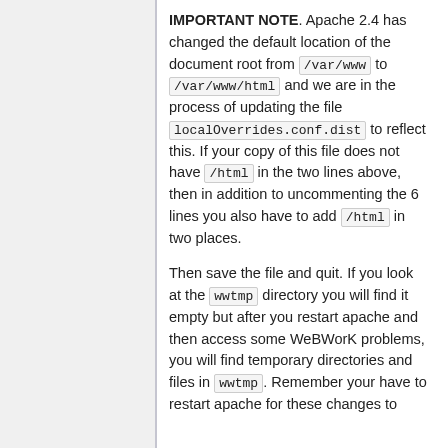IMPORTANT NOTE. Apache 2.4 has changed the default location of the document root from /var/www to /var/www/html and we are in the process of updating the file localOverrides.conf.dist to reflect this. If your copy of this file does not have /html in the two lines above, then in addition to uncommenting the 6 lines you also have to add /html in two places.
Then save the file and quit. If you look at the wwtmp directory you will find it empty but after you restart apache and then access some WeBWorK problems, you will find temporary directories and files in wwtmp. Remember your have to restart apache for these changes to